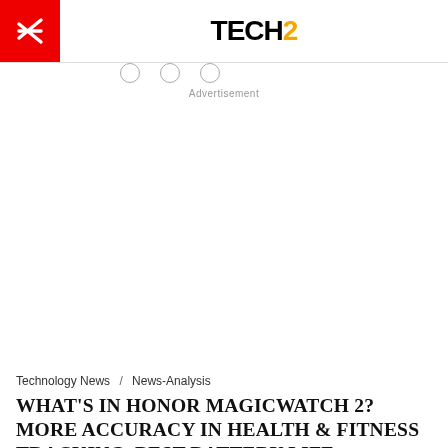TECH2
Advertisement
Technology News / News-Analysis
WHAT'S IN HONOR MAGICWATCH 2? MORE ACCURACY IN HEALTH & FITNESS TRACKING, BEST BATTERY LIFE, PERSONALIZED WATCH FACES AND MUCH